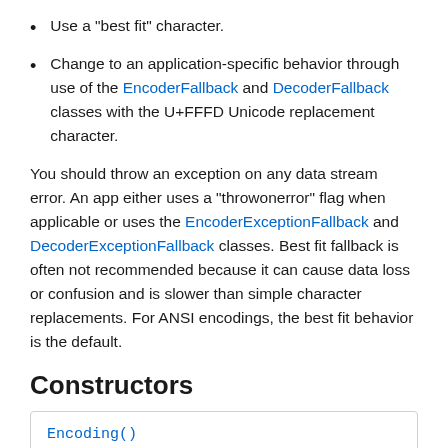Use a "best fit" character.
Change to an application-specific behavior through use of the EncoderFallback and DecoderFallback classes with the U+FFFD Unicode replacement character.
You should throw an exception on any data stream error. An app either uses a "throwonerror" flag when applicable or uses the EncoderExceptionFallback and DecoderExceptionFallback classes. Best fit fallback is often not recommended because it can cause data loss or confusion and is slower than simple character replacements. For ANSI encodings, the best fit behavior is the default.
Constructors
| Encoding() |